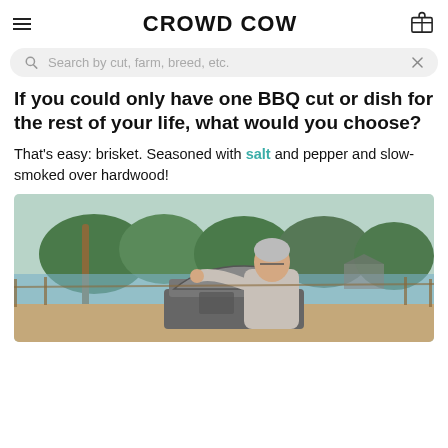CROWD COW
Search by cut, farm, breed, etc.
If you could only have one BBQ cut or dish for the rest of your life, what would you choose?
That's easy: brisket. Seasoned with salt and pepper and slow-smoked over hardwood!
[Figure (photo): Person opening the lid of a smoker/grill outdoors near a lake with trees in the background]